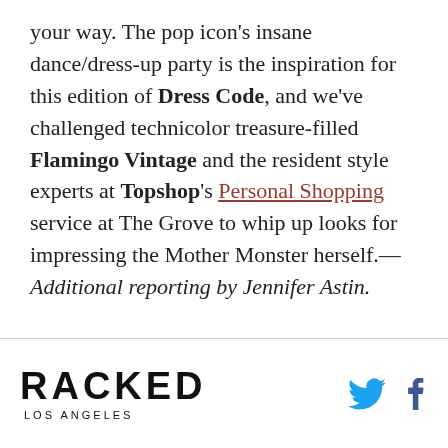your way. The pop icon's insane dance/dress-up party is the inspiration for this edition of Dress Code, and we've challenged technicolor treasure-filled Flamingo Vintage and the resident style experts at Topshop's Personal Shopping service at The Grove to whip up looks for impressing the Mother Monster herself.—Additional reporting by Jennifer Astin.
RACKED LOS ANGELES